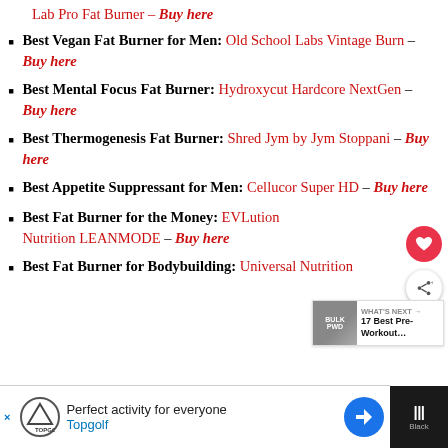Best Vegan Fat Burner for Men: Old School Labs Vintage Burn – Buy here
Best Mental Focus Fat Burner: Hydroxycut Hardcore NextGen – Buy here
Best Thermogenesis Fat Burner: Shred Jym by Jym Stoppani – Buy here
Best Appetite Suppressant for Men: Cellucor Super HD – Buy here
Best Fat Burner for the Money: EVLution Nutrition LEANMODE – Buy here
Best Fat Burner for Bodybuilding: Universal Nutrition Animal Cuts – Buy here